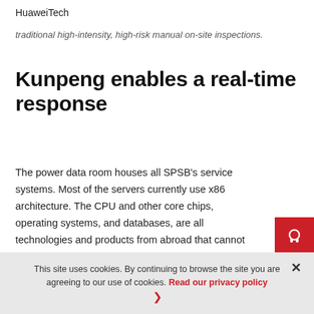HuaweiTech
traditional high-intensity, high-risk manual on-site inspections.
Kunpeng enables a real-time response
The power data room houses all SPSB's service systems. Most of the servers currently use x86 architecture. The CPU and other core chips, operating systems, and databases, are all technologies and products from abroad that cannot be independently managed. The Director of the Information Center at SPSB, Lv Zhining says,
This site uses cookies. By continuing to browse the site you are agreeing to our use of cookies. Read our privacy policy